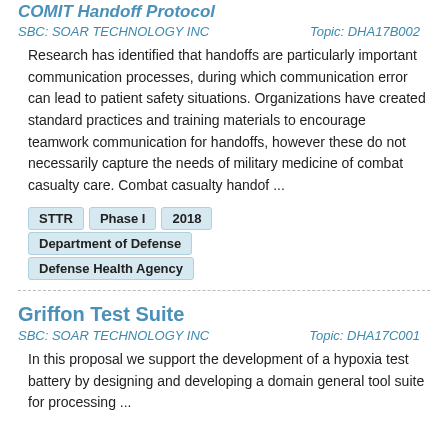COMIT Handoff Protocol
SBC: SOAR TECHNOLOGY INC    Topic: DHA17B002
Research has identified that handoffs are particularly important communication processes, during which communication error can lead to patient safety situations. Organizations have created standard practices and training materials to encourage teamwork communication for handoffs, however these do not necessarily capture the needs of military medicine of combat casualty care. Combat casualty handof ...
STTR
Phase I
2018
Department of Defense
Defense Health Agency
Griffon Test Suite
SBC: SOAR TECHNOLOGY INC    Topic: DHA17C001
In this proposal we support the development of a hypoxia test battery by designing and developing a domain general tool suite for processing ...